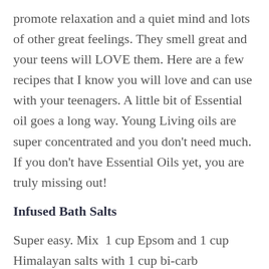promote relaxation and a quiet mind and lots of other great feelings. They smell great and your teens will LOVE them. Here are a few recipes that I know you will love and can use with your teenagers. A little bit of Essential oil goes a long way. Young Living oils are super concentrated and you don't need much. If you don't have Essential Oils yet, you are truly missing out!
Infused Bath Salts
Super easy. Mix  1 cup Epsom and 1 cup Himalayan salts with 1 cup bi-carb